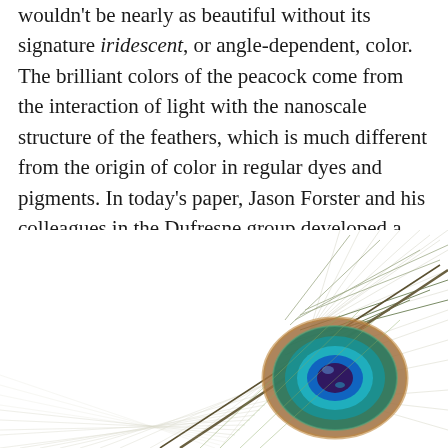wouldn't be nearly as beautiful without its signature iridescent, or angle-dependent, color. The brilliant colors of the peacock come from the interaction of light with the nanoscale structure of the feathers, which is much different from the origin of color in regular dyes and pigments. In today's paper, Jason Forster and his colleagues in the Dufresne group developed a simple way to make colors that is inspired by the structures in certain bird feathers.
[Figure (photo): A close-up photograph of a peacock feather showing the iridescent eye pattern with teal, blue, green, and brown colors, with thin wispy barbs extending outward against a white background.]